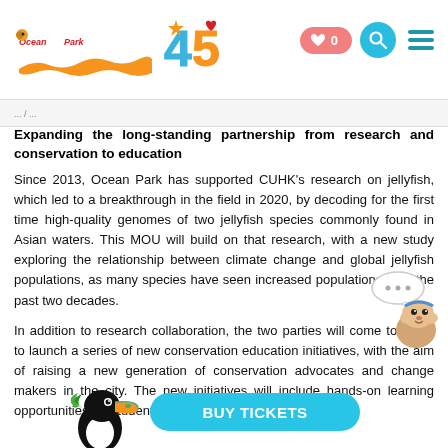Ocean Park 45th Anniversary - Navigation header with logo, heart/wishlist button (0), search, and menu icons
Expanding the long-standing partnership from research and conservation to education
Since 2013, Ocean Park has supported CUHK's research on jellyfish, which led to a breakthrough in the field in 2020, by decoding for the first time high-quality genomes of two jellyfish species commonly found in Asian waters. This MOU will build on that research, with a new study exploring the relationship between climate change and global jellyfish populations, as many species have seen increased populations over the past two decades.
In addition to research collaboration, the two parties will come together to launch a series of new conservation education initiatives, with the aim of raising a new generation of conservation advocates and change makers in the city. The new initiatives will include hands-on learning opportunities for students from kindergarten to university.
[Figure (illustration): Ocean Park animated mascot (small hamster-like character in sailor outfit with speech bubble showing ellipsis), overlapping the text on the right side]
[Figure (illustration): Toucan bird character overlapping the bottom text on the left side]
[Figure (other): BUY TICKETS cyan/teal rounded button]